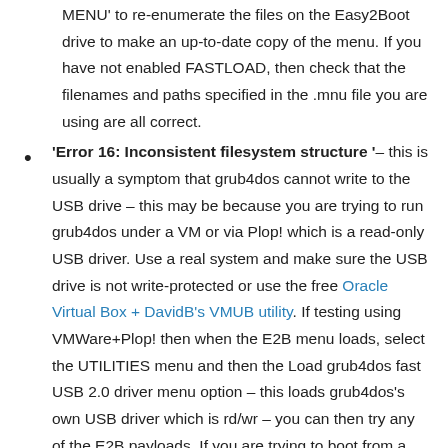MENU' to re-enumerate the files on the Easy2Boot drive to make an up-to-date copy of the menu. If you have not enabled FASTLOAD, then check that the filenames and paths specified in the .mnu file you are using are all correct.
'Error 16: Inconsistent filesystem structure '– this is usually a symptom that grub4dos cannot write to the USB drive – this may be because you are trying to run grub4dos under a VM or via Plop! which is a read-only USB driver. Use a real system and make sure the USB drive is not write-protected or use the free Oracle Virtual Box + DavidB's VMUB utility. If testing using VMWare+Plop! then when the E2B menu loads, select the UTILITIES menu and then the Load grub4dos fast USB 2.0 driver menu option – this loads grub4dos's own USB driver which is rd/wr – you can then try any of the E2B payloads. If you are trying to boot from a payload file and you get a 'not contiguous or corrupt' error message followed by this message, you may have a BIOS which has the 137GB limit bug – ensure the size of the first